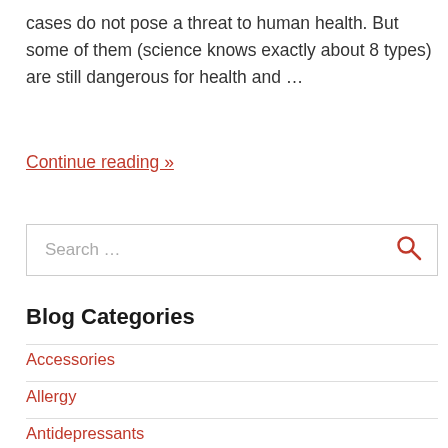cases do not pose a threat to human health. But some of them (science knows exactly about 8 types) are still dangerous for health and …
Continue reading »
Search …
Blog Categories
Accessories
Allergy
Antidepressants